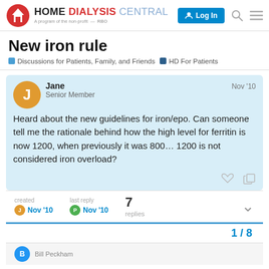HOME DIALYSIS CENTRAL – A program of the non-profit
New iron rule
Discussions for Patients, Family, and Friends  HD For Patients
Jane
Senior Member
Nov '10

Heard about the new guidelines for iron/epo. Can someone tell me the rationale behind how the high level for ferritin is now 1200, when previously it was 800… 1200 is not considered iron overload?
created Nov '10   last reply Nov '10   7 replies
1 / 8